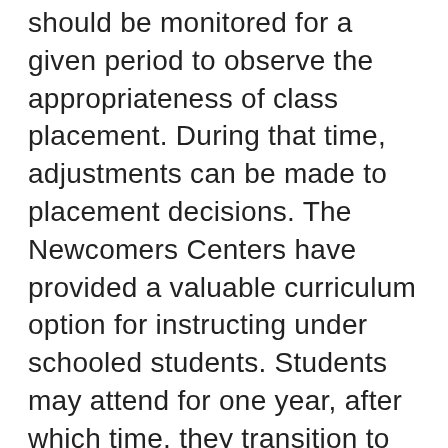should be monitored for a given period to observe the appropriateness of class placement. During that time, adjustments can be made to placement decisions. The Newcomers Centers have provided a valuable curriculum option for instructing under schooled students. Students may attend for one year, after which time, they transition to regular ESL classes.]
Q: What kind of counseling services are available, or should be available, for recent immigrant students?
PS: We have more programs than a lot of schools because we have been able to use Title I funds and funds from other grants and to work with IDRA and the Mellon Foundation